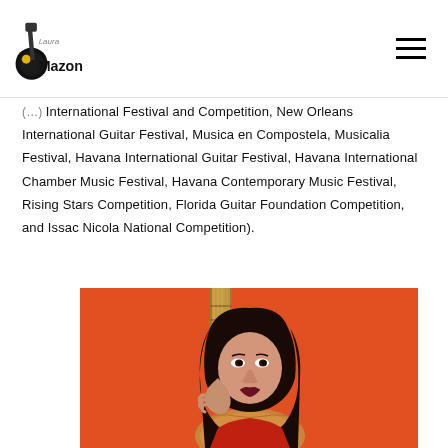Laura Mazon - logo and navigation
International Festival and Competition, New Orleans International Guitar Festival, Musica en Compostela, Musicalia Festival, Havana International Guitar Festival, Havana International Chamber Music Festival, Havana Contemporary Music Festival, Rising Stars Competition, Florida Guitar Foundation Competition, and Issac Nicola National Competition).
[Figure (photo): Young woman with long dark hair holding a classical guitar, photographed against an orange/red background. She is wearing a red outfit and holding the guitar neck, looking directly at the camera.]